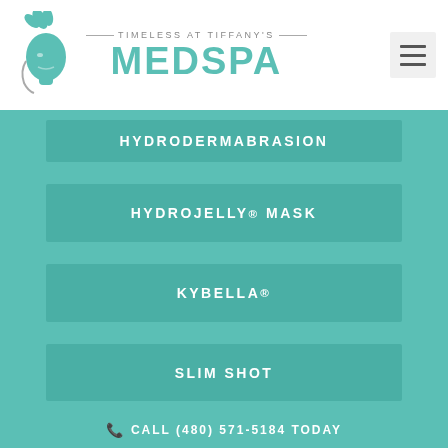[Figure (logo): Timeless at Tiffany's MedSpa logo with teal woman face silhouette and leaf motif]
HYDRODERMABRASION
HYDROJELLY® MASK
KYBELLA®
SLIM SHOT
CALL (480) 571-5184 TODAY